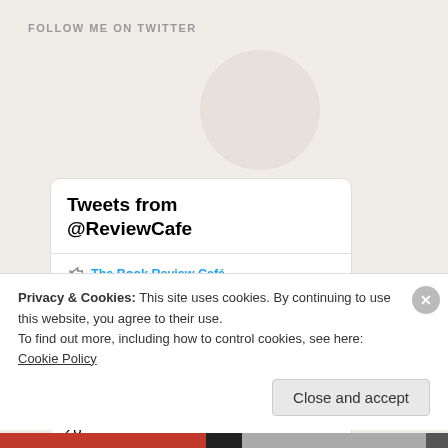FOLLOW ME ON TWITTER
[Figure (screenshot): Twitter widget showing 'Tweets from @ReviewCafe' with a retweet from The Book Review Café and a tweet by Michael Wo... (@Micha... · 3h) about 'The new DCI Matilda Darke novel, SILENT VICTIM is released on October 28']
Privacy & Cookies: This site uses cookies. By continuing to use this website, you agree to their use.
To find out more, including how to control cookies, see here:
Cookie Policy
Close and accept